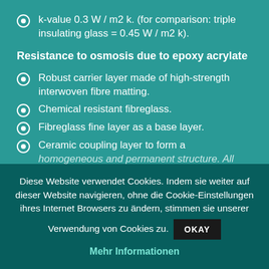k-value 0.3 W / m2 k. (for comparison: triple insulating glass = 0.45 W / m2 k).
Resistance to osmosis due to epoxy acrylate
Robust carrier layer made of high-strength interwoven fibre matting.
Chemical resistant fibreglass.
Fibreglass fine layer as a base layer.
Ceramic coupling layer to form a homogeneous and permanent structure. All
Diese Website verwendet Cookies. Indem sie weiter auf dieser Website navigieren, ohne die Cookie-Einstellungen ihres Internet Browsers zu ändern, stimmen sie unserer Verwendung von Cookies zu. OKAY Mehr Informationen